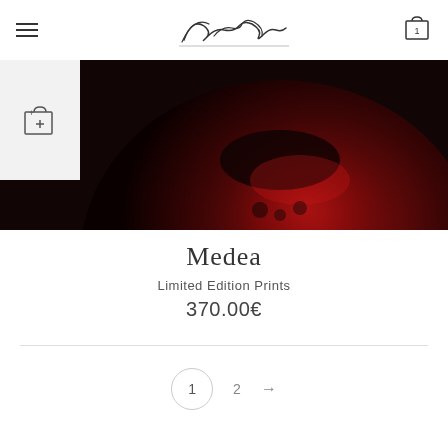Navigation header with hamburger menu, script logo, and cart icon with item count 1
[Figure (photo): Dark atmospheric close-up photograph of a red fruit or vegetable (appears to be a pomegranate or similar dark red subject) on a dark background, partially shown with white add-to-cart overlay on the left]
Medea
Limited Edition Prints
370.00€
Pagination: 1 (active) 2 →